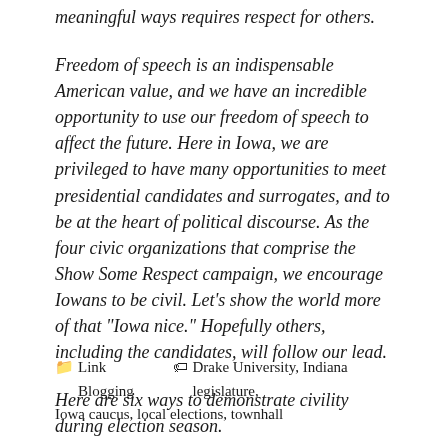meaningful ways requires respect for others.
Freedom of speech is an indispensable American value, and we have an incredible opportunity to use our freedom of speech to affect the future. Here in Iowa, we are privileged to have many opportunities to meet presidential candidates and surrogates, and to be at the heart of political discourse. As the four civic organizations that comprise the Show Some Respect campaign, we encourage Iowans to be civil. Let’s show the world more of that “Iowa nice.” Hopefully others, including the candidates, will follow our lead.
Here are six ways to demonstrate civility during election season.
Link Blogging   Drake University, Indiana legislature, Iowa caucus, local elections, townhall